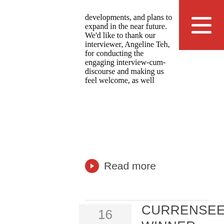developments, and plans to expand in the near future. We'd like to thank our interviewer, Angeline Teh, for conducting the engaging interview-cum-discourse and making us feel welcome, as well
Read more
CURRENSEEK: WINNER OF THE ASEAN FINTECH CHALLENGE 2016